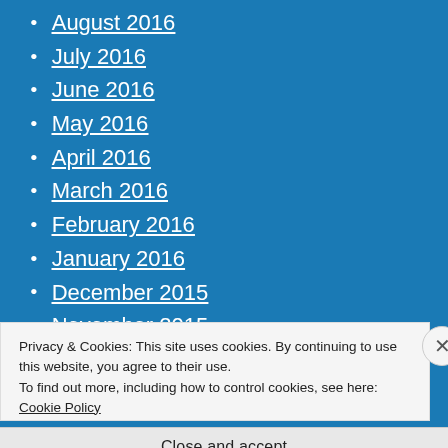August 2016
July 2016
June 2016
May 2016
April 2016
March 2016
February 2016
January 2016
December 2015
November 2015
October 2015
Privacy & Cookies: This site uses cookies. By continuing to use this website, you agree to their use. To find out more, including how to control cookies, see here: Cookie Policy
Close and accept